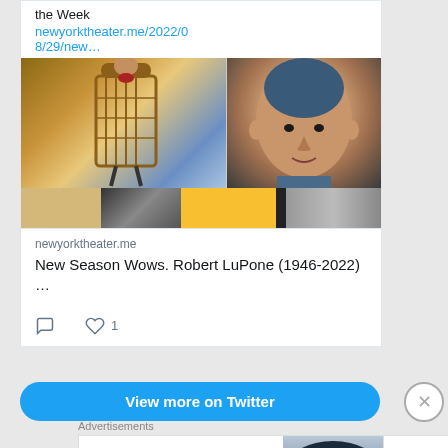the Week
newyorktheater.me/2022/08/29/new…
[Figure (photo): Composite image showing theatrical costume figure on left with cage-like outfit against sky background, and a man's face (headshot) on right, with a strip of smaller images at the bottom.]
newyorktheater.me
New Season Wows. Robert LuPone (1946-2022) …
1
View more on Twitter
Advertisements
[Figure (photo): Bloomingdales advertisement banner. Left: bloomingdales logo and tagline 'View Today's Top Deals!'. Center: woman wearing large brimmed hat. Right: 'SHOP NOW >' button box.]